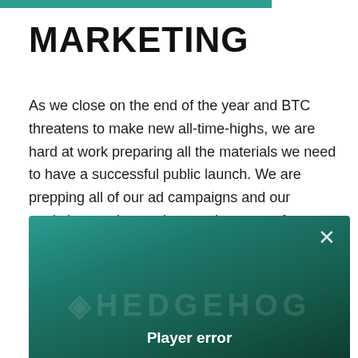MARKETING
As we close on the end of the year and BTC threatens to make new all-time-highs, we are hard at work preparing all the materials we need to have a successful public launch. We are prepping all of our ad campaigns and our analytics to take maximum advantage of our press release and initial ad spend, hoping to make our debut one to remember. Keep an eye out in the industry trades for our release!
[Figure (screenshot): A video player embed showing a 'Player error' message on a dark green gradient background with a close (×) button in the top right corner and a faint watermark logo/text at the bottom.]